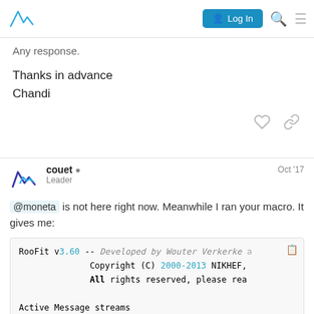Log In
Any response.
Thanks in advance
Chandi
couet  Leader  Oct '17
@moneta is not here right now. Meanwhile I ran your macro. It gives me:
RooFit v3.60 -- Developed by Wouter Verkerke a
Copyright (C) 2000-2013 NIKHEF,
All rights reserved, please rea

Active Message streams
[0] MinLevel = PROGRESS Topic = Any